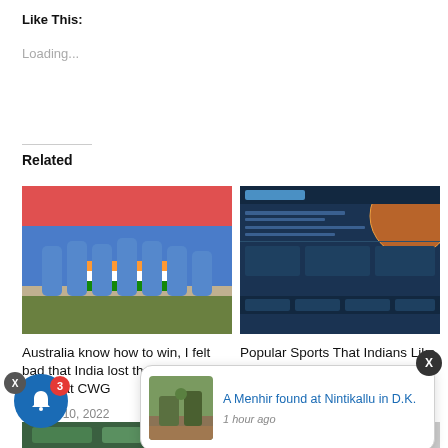Like This:
Loading...
Related
[Figure (photo): Group photo of Indian women's cricket team holding the Indian flag, posing together on a cricket ground with stadium crowd in background]
[Figure (screenshot): Screenshot of a dark-themed sports betting website with orange globe graphic and tables of matches]
Australia know how to win, I felt bad that India lost the gold medal match at CWG
Popular Sports That Indians Like to Bet On
August 10, 2022
August 23, 2022
In "Fi... Fun"
[Figure (photo): Thumbnail photo of a menhir stone monument in a grassy outdoor setting with trees]
A Menhir found at Nintikallu in D.K.
1 hour ago